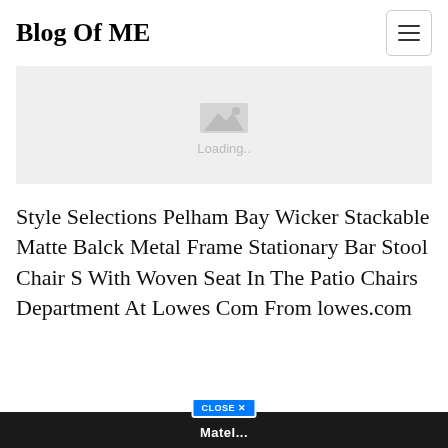Blog Of ME
[Figure (other): Loading placeholder image with mountain/landscape icon and 'Loading..' text on grey background]
Style Selections Pelham Bay Wicker Stackable Matte Balck Metal Frame Stationary Bar Stool Chair S With Woven Seat In The Patio Chairs Department At Lowes Com From lowes.com
[Figure (screenshot): Bottom strip advertisement with 'CLOSE X' button and white text on dark background]